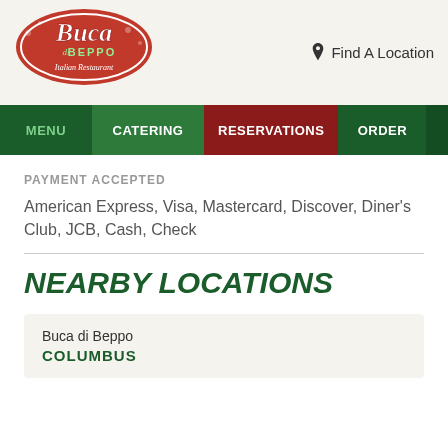[Figure (logo): Buca di Beppo Italian Restaurant logo — red script lettering with green accent text]
Find A Location
MENU  CATERING  RESERVATIONS  ORDER  ≡
PAYMENT ACCEPTED
American Express, Visa, Mastercard, Discover, Diner's Club, JCB, Cash, Check
NEARBY LOCATIONS
Buca di Beppo
COLUMBUS